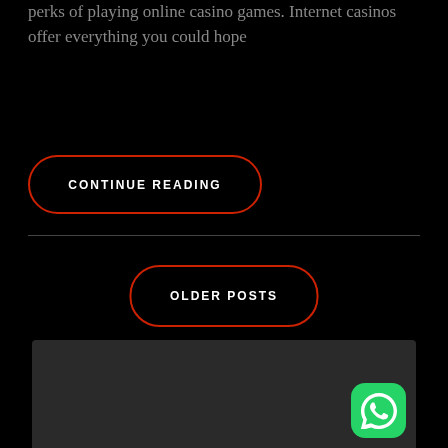perks of playing online casino games. Internet casinos offer everything you could hope
[Figure (screenshot): CONTINUE READING button with red rounded border on black background]
[Figure (screenshot): OLDER POSTS button with red rounded border on black background]
[Figure (screenshot): Dark grey footer area with a horizontal divider line and a WhatsApp icon button in the bottom right corner]